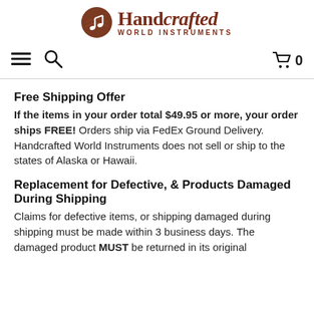Handcrafted WORLD INSTRUMENTS
Free Shipping Offer
If the items in your order total $49.95 or more, your order ships FREE! Orders ship via FedEx Ground Delivery. Handcrafted World Instruments does not sell or ship to the states of Alaska or Hawaii.
Replacement for Defective, & Products Damaged During Shipping
Claims for defective items, or shipping damaged during shipping must be made within 3 business days. The damaged product MUST be returned in its original